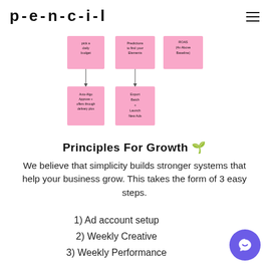p-e-n-c-i-l
[Figure (flowchart): A flowchart with pink sticky notes showing workflow boxes including 'pick a daily budget', 'Predictions to find your Elements', 'ROAS (4x Above Baseline)', connected to lower boxes 'Auto-Algo Approve + offers through delivery plus', 'Export Batch + Launch New Ads']
Principles For Growth 🌱
We believe that simplicity builds stronger systems that help your business grow. This takes the form of 3 easy steps.
1) Ad account setup
2) Weekly Creative
3) Weekly Performance